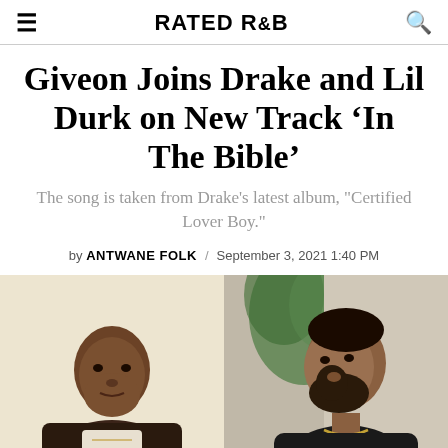RATED R&B
Giveon Joins Drake and Lil Durk on New Track 'In The Bible'
The song is taken from Drake's latest album, "Certified Lover Boy."
by ANTWANE FOLK / September 3, 2021 1:40 PM
[Figure (photo): Side-by-side photos of Giveon (left, dark jacket, cream background) and Drake (right, dark clothing, green plant background)]